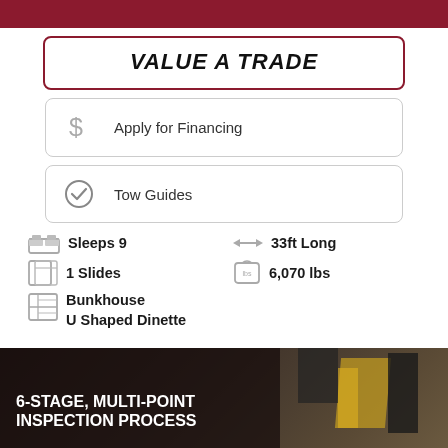[Figure (other): Dark red/maroon banner at top of page (partial, cropped)]
VALUE A TRADE
Apply for Financing
Tow Guides
Sleeps 9
33ft Long
1 Slides
6,070 lbs
Bunkhouse
U Shaped Dinette
[Figure (photo): Workshop/garage scene with vehicle undercarriage and yellow equipment, dark background]
6-STAGE, MULTI-POINT INSPECTION PROCESS